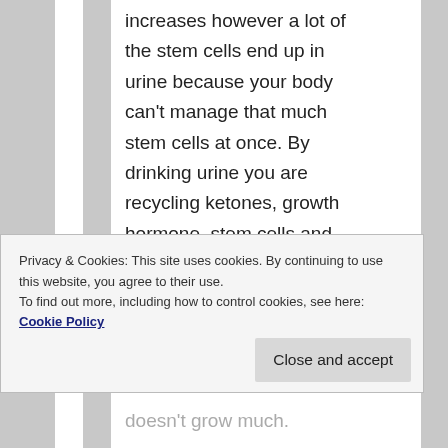increases however a lot of the stem cells end up in urine because your body can't manage that much stem cells at once. By drinking urine you are recycling ketones, growth hormone, stem cells and testosterone so you become a healing, fat burning,
Privacy & Cookies: This site uses cookies. By continuing to use this website, you agree to their use.
To find out more, including how to control cookies, see here: Cookie Policy
Close and accept
doesn't grow much.